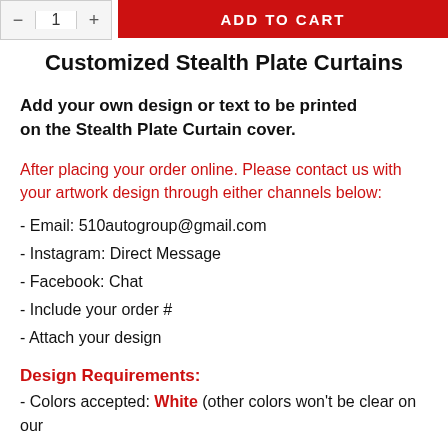[Figure (screenshot): Add to cart UI with quantity selector (minus, 1, plus buttons) and a red ADD TO CART button]
Customized Stealth Plate Curtains
Add your own design or text to be printed on the Stealth Plate Curtain cover.
After placing your order online. Please contact us with your artwork design through either channels below:
- Email: 510autogroup@gmail.com
- Instagram: Direct Message
- Facebook: Chat
- Include your order #
- Attach your design
Design Requirements:
- Colors accepted: White (other colors won't be clear on our